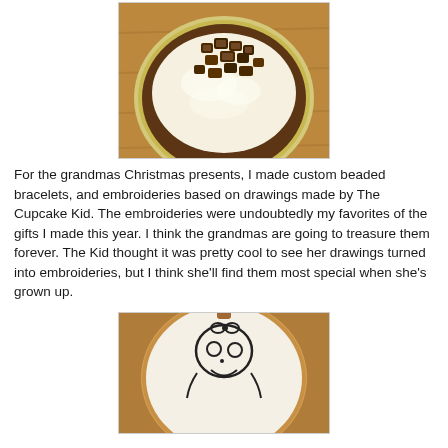[Figure (photo): Overhead view of a pie in a foil tin with white cream topping and chocolate peanut butter cup pieces scattered on top, placed on a wooden surface.]
For the grandmas Christmas presents, I made custom beaded bracelets, and embroideries based on drawings made by The Cupcake Kid. The embroideries were undoubtedly my favorites of the gifts I made this year. I think the grandmas are going to treasure them forever. The Kid thought it was pretty cool to see her drawings turned into embroideries, but I think she'll find them most special when she's grown up.
[Figure (photo): An embroidery hoop with white fabric showing a child's drawing of a character with a bow on its head, round eyes, and a smile, stitched in black thread.]